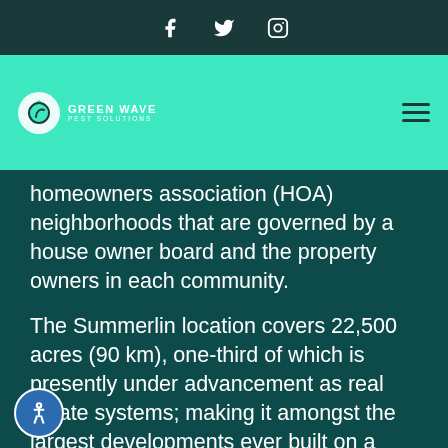Social media icons: Facebook, Twitter, Instagram
[Figure (logo): Green Wave Pest Solutions logo with teal circular icon and white text on teal navigation bar]
homeowners association (HOA) neighborhoods that are governed by a house owner board and the property owners in each community.
The Summerlin location covers 22,500 acres (90 km), one-third of which is presently under advancement as real estate systems; making it amongst the largest developments ever built on a single system of land. The project's